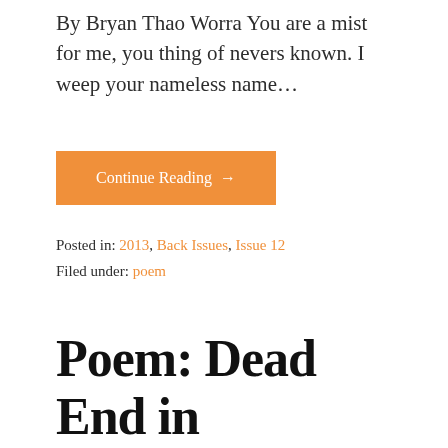By Bryan Thao Worra You are a mist for me, you thing of nevers known. I weep your nameless name...
Continue Reading →
Posted in: 2013, Back Issues, Issue 12
Filed under: poem
Poem: Dead End in December
December 6, 2012